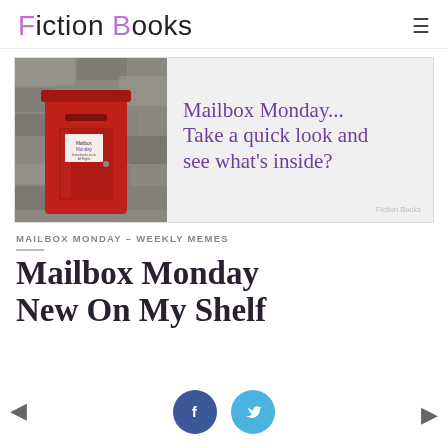Fiction Books
[Figure (photo): A red British post box / mailbox mounted on a stone wall, with a small Mailbox Monday sign on it. Beside it on a grey background: text reading 'Mailbox Monday... Take a quick look and see what's inside?' with Fiction Books attribution.]
MAILBOX MONDAY – WEEKLY MEMES
Mailbox Monday New On My Shelf